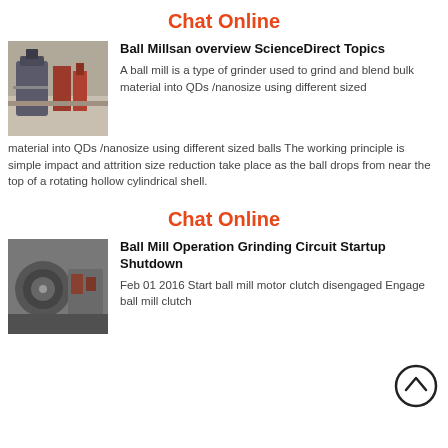Chat Online
[Figure (photo): Photograph of industrial ball mill equipment in a facility with red machinery visible in the background]
Ball Millsan overview ScienceDirect Topics
A ball mill is a type of grinder used to grind and blend bulk material into QDs /nanosize using different sized balls The working principle is simple impact and attrition size reduction take place as the ball drops from near the top of a rotating hollow cylindrical shell.
Chat Online
[Figure (photo): Photograph of a ball mill grinding circuit showing mechanical components]
Ball Mill Operation Grinding Circuit Startup Shutdown
Feb 01 2016  Start ball mill motor clutch disengaged Engage ball mill clutch